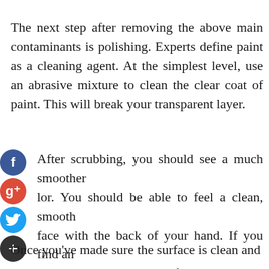The next step after removing the above main contaminants is polishing. Experts define paint as a cleaning agent. At the simplest level, use an abrasive mixture to clean the clear coat of paint. This will break your transparent layer.
After scrubbing, you should see a much smoother color. You should be able to feel a clean, smooth surface with the back of your hand. If you find an untreated area with parts of the material embedded in a transparent layer, polish the area again.
Once you've made sure the surface is clean and